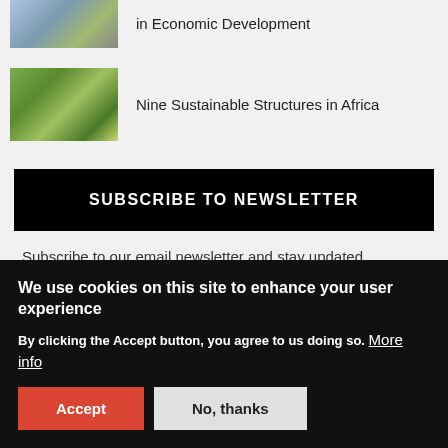in Economic Development
[Figure (photo): Aerial view of urban development]
Nine Sustainable Structures in Africa
[Figure (photo): Green buildings with vegetation in Africa]
SUBSCRIBE TO NEWSLETTER
Subscribe to our email newsletter and stay updated.
We use cookies on this site to enhance your user experience
By clicking the Accept button, you agree to us doing so. More info
Accept
No, thanks